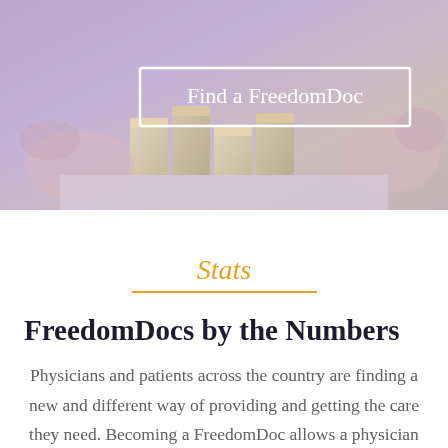[Figure (photo): Hands stacking wooden blocks, purple-tinted hero image with 'Find a FreedomDoc' button overlay]
Stats
FreedomDocs by the Numbers
Physicians and patients across the country are finding a new and different way of providing and getting the care they need. Becoming a FreedomDoc allows a physician to provide care